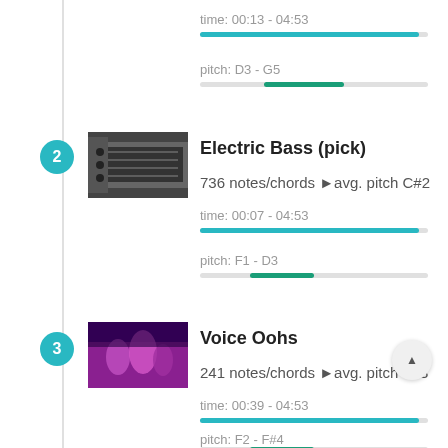time: 00:13 - 04:53
pitch: D3 - G5
2
[Figure (photo): Thumbnail of electric bass guitar being played]
Electric Bass (pick)
736 notes/chords►vg. pitch C#2
time: 00:07 - 04:53
pitch: F1 - D3
3
[Figure (photo): Thumbnail of people singing with stage lighting]
Voice Oohs
241 notes/chords►vg. pitch F#3
time: 00:39 - 04:53
pitch: F2 - F#4